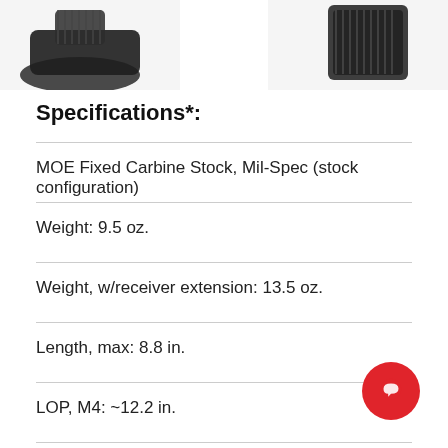[Figure (photo): Partial product photos of MOE Fixed Carbine Stock components, dark/black color, shown at the top of the page cropped.]
Specifications*:
MOE Fixed Carbine Stock, Mil-Spec (stock configuration)
Weight: 9.5 oz.
Weight, w/receiver extension: 13.5 oz.
Length, max: 8.8 in.
LOP, M4: ~12.2 in.